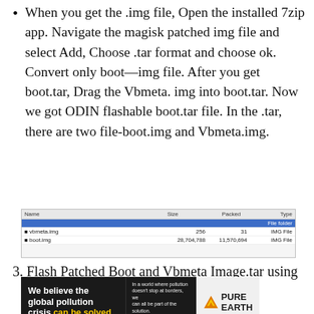When you get the .img file, Open the installed 7zip app. Navigate the magisk patched img file and select Add, Choose .tar format and choose ok. Convert only boot—img file. After you get boot.tar, Drag the Vbmeta. img into boot.tar. Now we got ODIN flashable boot.tar file. In the .tar, there are two file-boot.img and Vbmeta.img.
[Figure (screenshot): 7zip file manager window showing a .tar archive containing two files: vbmeta.img (256 bytes, 31 packed, IMG File) and boot.img (28,704,788 bytes, 11,570,694 packed, IMG File). One highlighted blue row for File folder.]
3. Flash Patched Boot and Vbmeta Image.tar using
[Figure (photo): Pure Earth advertisement banner with black background. Left side reads 'We believe the global pollution crisis can be solved.' with 'can be solved.' in yellow. Center text: 'In a world where pollution doesn't stop at borders, we can all be part of the solution. JOIN US.' in yellow. Right side shows Pure Earth logo with orange/gold icon and black text 'PURE EARTH'.]